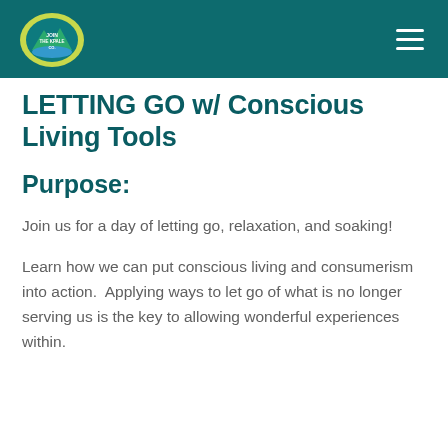LETTING GO w/ Conscious Living Tools — navigation bar with logo and hamburger menu
LETTING GO w/ Conscious Living Tools
Purpose:
Join us for a day of letting go, relaxation, and soaking!
Learn how we can put conscious living and consumerism into action.  Applying ways to let go of what is no longer serving us is the key to allowing wonderful experiences within.